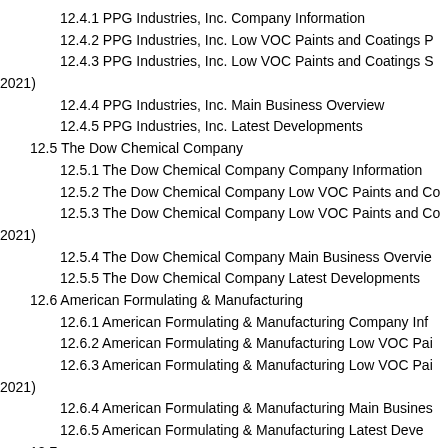12.4.1 PPG Industries, Inc. Company Information
12.4.2 PPG Industries, Inc. Low VOC Paints and Coatings P
12.4.3 PPG Industries, Inc. Low VOC Paints and Coatings S 2021)
12.4.4 PPG Industries, Inc. Main Business Overview
12.4.5 PPG Industries, Inc. Latest Developments
12.5 The Dow Chemical Company
12.5.1 The Dow Chemical Company Company Information
12.5.2 The Dow Chemical Company Low VOC Paints and Co
12.5.3 The Dow Chemical Company Low VOC Paints and Co 2021)
12.5.4 The Dow Chemical Company Main Business Overview
12.5.5 The Dow Chemical Company Latest Developments
12.6 American Formulating & Manufacturing
12.6.1 American Formulating & Manufacturing Company Inf
12.6.2 American Formulating & Manufacturing Low VOC Pai
12.6.3 American Formulating & Manufacturing Low VOC Pai 2021)
12.6.4 American Formulating & Manufacturing Main Business
12.6.5 American Formulating & Manufacturing Latest Deve
12.7 ...